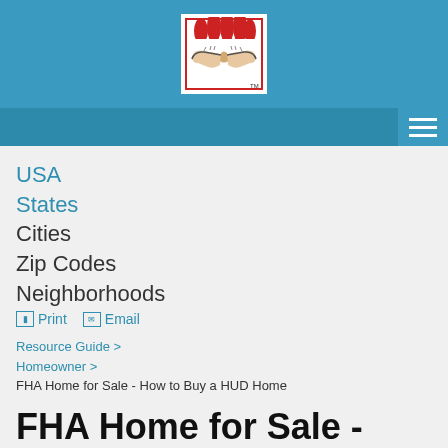[Figure (logo): HUD / FHA logo showing a handshake with decorative elements, red and black on white background, with TM mark]
Navigation menu (hamburger icon)
USA
States
Cities
Zip Codes
Neighborhoods
Print  Email
Resource Guide > Homeowner > FHA Home for Sale - How to Buy a HUD Home
FHA Home for Sale - How to Buy a HUD Home